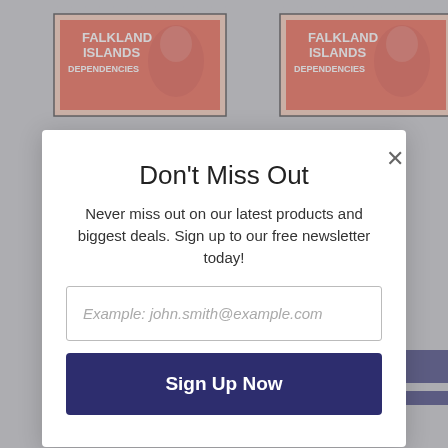[Figure (illustration): Two Falkland Islands Dependencies postage stamps with red color showing Queen Elizabeth II portrait, partially visible at top of page]
Don't Miss Out
Never miss out on our latest products and biggest deals. Sign up to our free newsletter today!
Example: john.smith@example.com
Sign Up Now
[Figure (screenshot): Two 'Add to cart' dark navy buttons and partial stamp images visible at bottom of page behind modal]